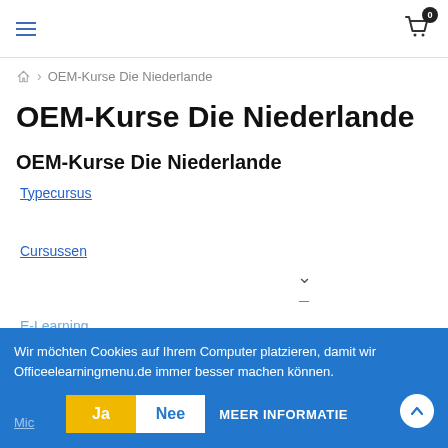≡ [hamburger menu] | [cart icon with badge 0]
🏠 > OEM-Kurse Die Niederlande
OEM-Kurse Die Niederlande
OEM-Kurse Die Niederlande
Typecursus
Cursussen
E-Learning
Wir möchten Cookies auf Ihrem Computer platzieren, damit wir Officeelearningmenu.de immer besser machen können.
Ja   Nee   MEER INFORMATIE